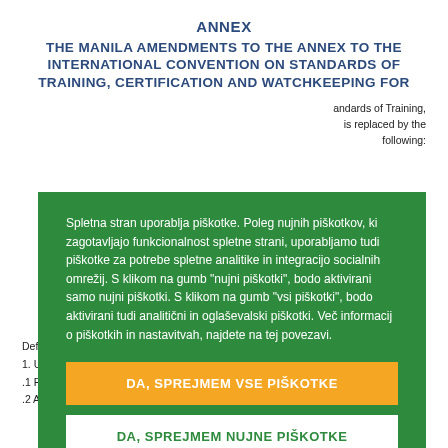ANNEX
THE MANILA AMENDMENTS TO THE ANNEX TO THE INTERNATIONAL CONVENTION ON STANDARDS OF TRAINING, CERTIFICATION AND WATCHKEEPING FOR
Spletna stran uporablja piškotke. Poleg nujnih piškotkov, ki zagotavljajo funkcionalnost spletne strani, uporabljamo tudi piškotke za potrebe spletne analitike in integracijo socialnih omrežij. S klikom na gumb "nujni piškotki", bodo aktivirani samo nujni piškotki. S klikom na gumb "vsi piškotki", bodo aktivirani tudi analitični in oglaševalski piškotki. Več informacij o piškotkih in nastavitvah, najdete na tej povezavi.
DA, SPREJMEM VSE PIŠKOTKE
DA, SPREJMEM NUJNE PIŠKOTKE
andards of Training, is replaced by the following:
Definitions
1. Unless expressly provided otherwise:
.1 Regulations means regulations contained in the annex to the Convention;
.2 Approved means approved by the Party in accordance with these